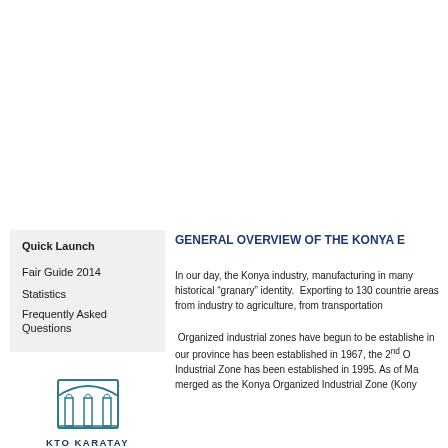Quick Launch
Fair Guide 2014
Statistics
Frequently Asked Questions
[Figure (logo): KTO Karatay University logo with architectural building icon and text KTO KARATAY UNIVERSITY]
GENERAL OVERVIEW OF THE KONYA E
In our day, the Konya industry, manufacturing in many historical “granary” identity. Exporting to 130 countrie areas from industry to agriculture, from transportation
Organized industrial zones have begun to be establishe in our province has been established in 1967, the 2nd O Industrial Zone has been established in 1995. As of Ma merged as the Konya Organized Industrial Zone (Kony